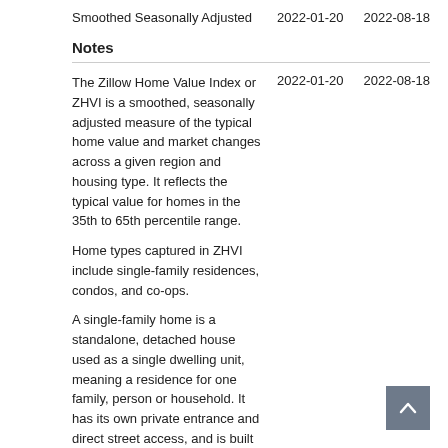Smoothed Seasonally Adjusted	2022-01-20	2022-08-18
Notes
The Zillow Home Value Index or ZHVI is a smoothed, seasonally adjusted measure of the typical home value and market changes across a given region and housing type. It reflects the typical value for homes in the 35th to 65th percentile range.

Home types captured in ZHVI include single-family residences, condos, and co-ops.

A single-family home is a standalone, detached house used as a single dwelling unit, meaning a residence for one family, person or household. It has its own private entrance and direct street access, and is built on its own land, usually with additional yard space.

An owner-occupied apartment is generally referred to as a condominium or condo. The public common areas are jointly-owned and usually managed by a homeowners association (HOA).
2022-01-20	2022-08-18